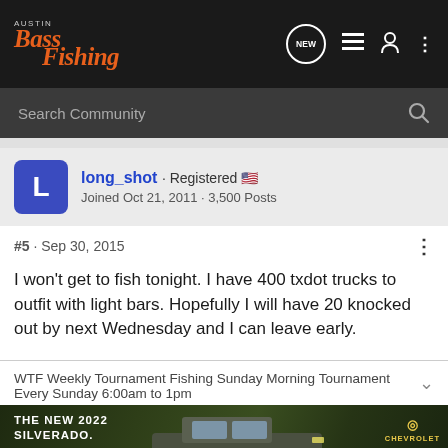Austin Bass Fishing — Navigation bar with NEW, list, user, and menu icons
Search Community
long_shot · Registered 🇺🇸 Joined Oct 21, 2011 · 3,500 Posts
#5 · Sep 30, 2015
I won't get to fish tonight. I have 400 txdot trucks to outfit with light bars. Hopefully I will have 20 knocked out by next Wednesday and I can leave early.
WTF Weekly Tournament Fishing Sunday Morning Tournament Every Sunday 6:00am to 1pm
[Figure (photo): Chevrolet advertisement banner showing the new 2022 Silverado truck with Explore button and Chevrolet logo]